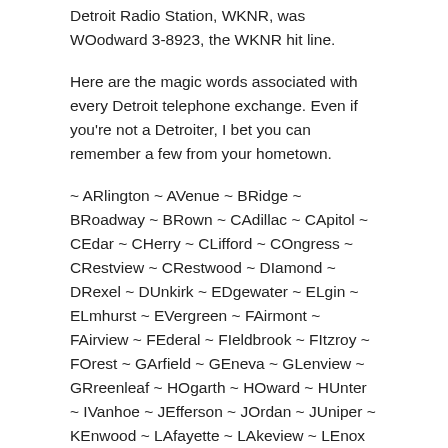Detroit Radio Station, WKNR, was WOodward 3-8923, the WKNR hit line.
Here are the magic words associated with every Detroit telephone exchange. Even if you're not a Detroiter, I bet you can remember a few from your hometown.
~ ARlington ~ AVenue ~ BRidge ~ BRoadway ~ BRown ~ CAdillac ~ CApitol ~ CEdar ~ CHerry ~ CLifford ~ COngress ~ CRestview ~ CRestwood ~ DIamond ~ DRexel ~ DUnkirk ~ EDgewater ~ ELgin ~ ELmhurst ~ EVergreen ~ FAirmont ~ FAirview ~ FEderal ~ FIeldbrook ~ FItzroy ~ FOrest ~ GArfield ~ GEneva ~ GLenview ~ GRreenleaf ~ HOgarth ~ HOward ~ HUnter ~ IVanhoe ~ JEfferson ~ JOrdan ~ JUniper ~ KEnwood ~ LAfayette ~ LAkeview ~ LEnox ~ LIberty ~ LIncoln ~ LOgan ~ LOrain ~ LUzon ~ MAdison ~ MArket ~ MAyfair ~ MElrose ~ MIdwest ~ MUrray ~ MUlberry ~ MYrtle ~ NAtional ~